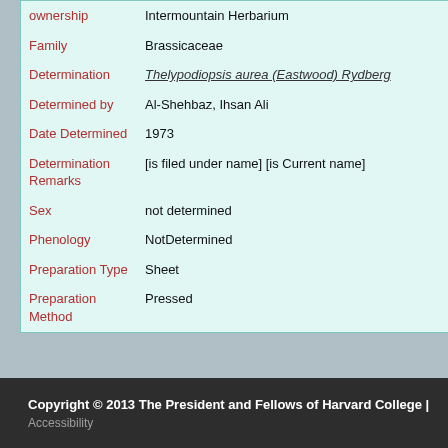| Field | Value |
| --- | --- |
| ownership | Intermountain Herbarium |
| Family | Brassicaceae |
| Determination | Thelypodiopsis aurea (Eastwood) Rydberg |
| Determined by | Al-Shehbaz, Ihsan Ali |
| Date Determined | 1973 |
| Determination Remarks | [is filed under name] [is Current name] |
| Sex | not determined |
| Phenology | NotDetermined |
| Preparation Type | Sheet |
| Preparation Method | Pressed |
Copyright © 2013 The President and Fellows of Harvard College | Accessibility